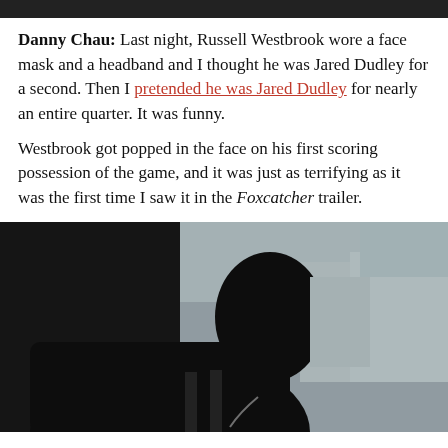[Figure (photo): Dark horizontal banner at top of page, appears to be a cropped photo strip]
Danny Chau: Last night, Russell Westbrook wore a face mask and a headband and I thought he was Jared Dudley for a second. Then I pretended he was Jared Dudley for nearly an entire quarter. It was funny.
Westbrook got popped in the face on his first scoring possession of the game, and it was just as terrifying as it was the first time I saw it in the Foxcatcher trailer.
[Figure (photo): Dark cinematic still showing a man in profile, silhouetted against a light interior background, wearing a tank top]